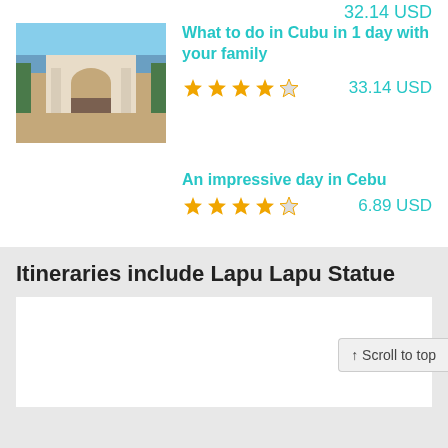32.14 USD
[Figure (photo): Thumbnail photo of a historic building with arches, Cebu]
What to do in Cubu in 1 day with your family
★★★★☆  33.14 USD
An impressive day in Cebu
★★★★☆  6.89 USD
Itineraries include Lapu Lapu Statue
↑ Scroll to top